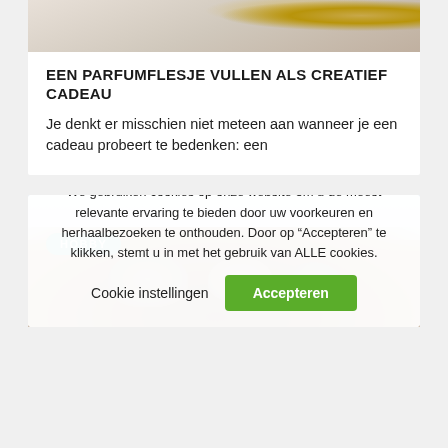[Figure (photo): Top portion of an article card showing a blurred background with fur-like texture and a gold perfume bottle partially visible at right]
EEN PARFUMFLESJE VULLEN ALS CREATIEF CADEAU
Je denkt er misschien niet meteen aan wanneer je een cadeau probeert te bedenken: een
[Figure (photo): Photo of dried mushrooms in a dark wooden bowl on a light blue background, with a green 'HOBBY' badge overlay]
We gebruiken cookies op onze website om u de meest relevante ervaring te bieden door uw voorkeuren en herhaalbezoeken te onthouden. Door op “Accepteren” te klikken, stemt u in met het gebruik van ALLE cookies.
Cookie instellingen   Accepteren